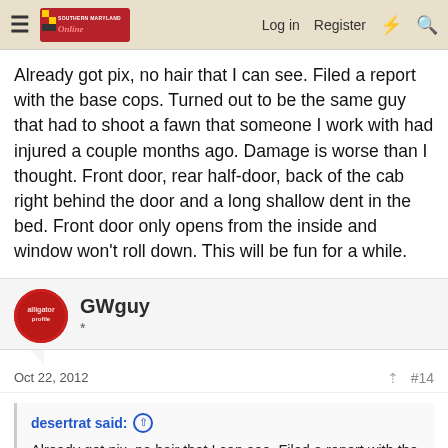Southern Maryland Online — Log in | Register
Already got pix, no hair that I can see. Filed a report with the base cops. Turned out to be the same guy that had to shoot a fawn that someone I work with had injured a couple months ago. Damage is worse than I thought. Front door, rear half-door, back of the cab right behind the door and a long shallow dent in the bed. Front door only opens from the inside and window won't roll down. This will be fun for a while.
GWguy
*
Oct 22, 2012   #14
desertrat said:
Already got pix, no hair that I can see. Filed a report with the base cops. Turned out to be the same guy that had to shoot a fawn that someone I work with had injured a couple months ago.
Damage is worse than I thought. Front door, rear half-door, back of the cab right behind the door and a long shallow dent in the bed. Front